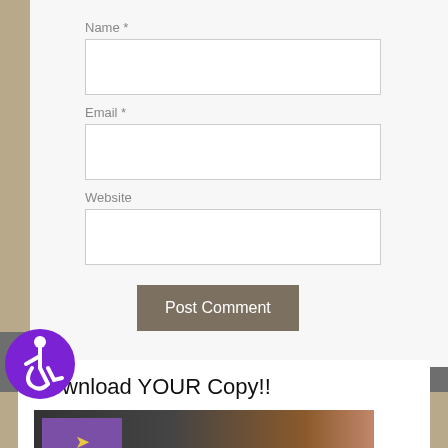Name *
Email *
Website
[Figure (illustration): Accessibility icon — purple circle with white wheelchair user figure]
Post Comment
Download YOUR Copy!!
[Figure (photo): Laptop computer with purple screen showing a yellow arrow, partial view of table/desk scene]